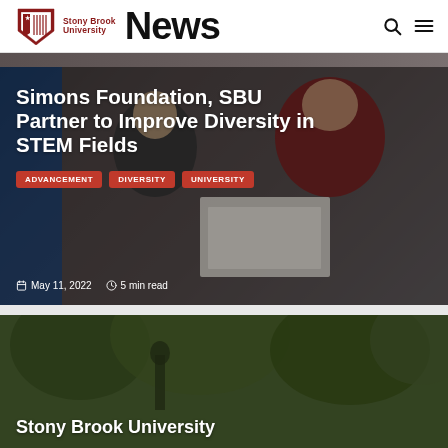Stony Brook University News
[Figure (photo): Two people holding a certificate/document at a Stony Brook University event backdrop; man in suit and woman in red jacket smiling]
Simons Foundation, SBU Partner to Improve Diversity in STEM Fields
ADVANCEMENT
DIVERSITY
UNIVERSITY
May 11, 2022   5 min read
[Figure (photo): Outdoor photo with trees and a person; second article preview at bottom of page]
Stony Brook University